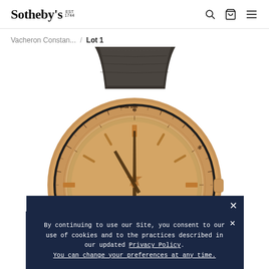Sotheby's EST 1744
Vacheron Constan... / Lot 1
[Figure (photo): Close-up photograph of a Vacheron Constantin luxury watch with a rose-gold case and dial, dark brown leather strap, featuring a slide rule / tachymetre bezel detail. The watch brand name is visible on the dial.]
By continuing to use our Site, you consent to our use of cookies and to the practices described in our updated Privacy Policy. You can change your preferences at any time.